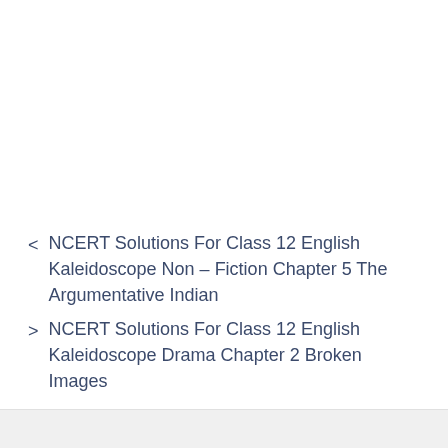< NCERT Solutions For Class 12 English Kaleidoscope Non – Fiction Chapter 5 The Argumentative Indian
> NCERT Solutions For Class 12 English Kaleidoscope Drama Chapter 2 Broken Images